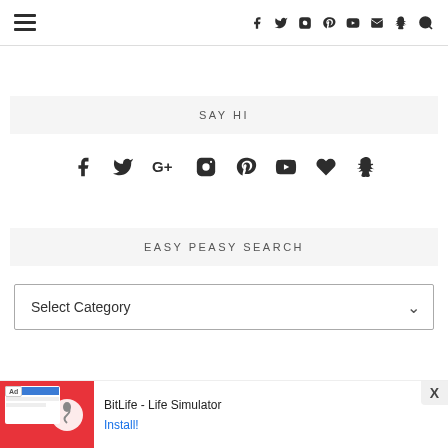Navigation bar with hamburger menu and social icons: facebook, twitter, instagram, pinterest, youtube, email, snapchat, search
SAY HI
[Figure (infographic): Social media icons row: facebook, twitter, google+, instagram, pinterest, youtube, heart/bloglovin, snapchat]
EASY PEASY SEARCH
Select Category dropdown
[Figure (screenshot): Ad banner: BitLife - Life Simulator with Install button and close X button]